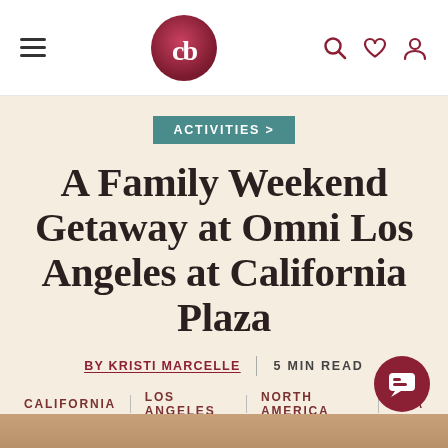cb logo with hamburger menu and search, wishlist, user icons
ACTIVITIES >
A Family Weekend Getaway at Omni Los Angeles at California Plaza
BY KRISTI MARCELLE | 5 MIN READ
CALIFORNIA | LOS ANGELES | NORTH AMERICA | USA